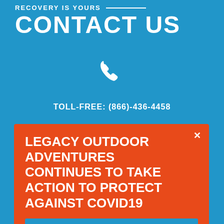RECOVERY IS YOURS
CONTACT US
[Figure (illustration): White phone handset icon]
TOLL-FREE: (866)-436-4458
LEGACY OUTDOOR ADVENTURES CONTINUES TO TAKE ACTION TO PROTECT AGAINST COVID19
READ MORE